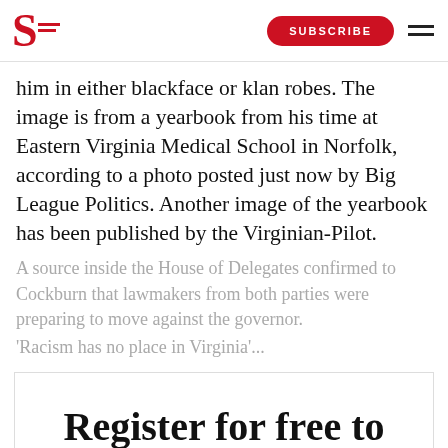S [logo] | SUBSCRIBE | [menu]
him in either blackface or klan robes. The image is from a yearbook from his time at Eastern Virginia Medical School in Norfolk, according to a photo posted just now by Big League Politics. Another image of the yearbook has been published by the Virginian-Pilot.
A source inside the House of Delegates confirmed to Cockburn that lawmakers from both parties were preparing to move against the governor.
‘Racism has no place in Virginia’...
Register for free to